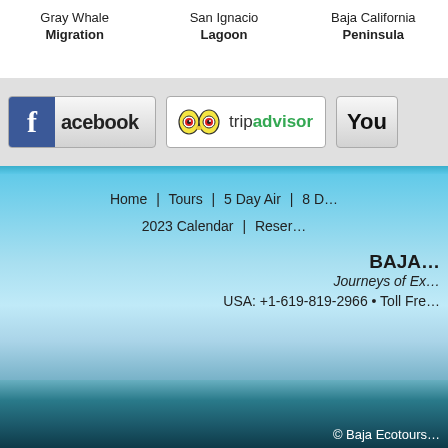Gray Whale Migration | San Ignacio Lagoon | Baja California Peninsula
[Figure (logo): Facebook logo button with blue 'f' icon and 'acebook' text]
[Figure (logo): TripAdvisor logo button with owl icon and 'tripadvisor' text]
[Figure (logo): YouTube button partially visible showing 'You']
Home | Tours | 5 Day Air | 8 D... | 2023 Calendar | Reser...
BAJA Journeys of Ex... USA: +1-619-819-2966 • Toll Fre...
© Baja Ecotours